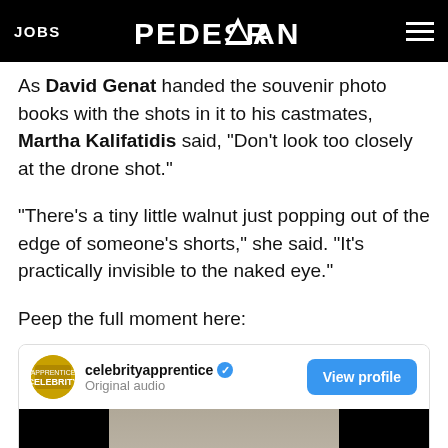JOBS | PEDESTRIAN | [hamburger menu]
As David Genat handed the souvenir photo books with the shots in it to his castmates, Martha Kalifatidis said, “Don’t look too closely at the drone shot.”
“There’s a tiny little walnut just popping out of the edge of someone’s shorts,” she said. “It’s practically invisible to the naked eye.”
Peep the full moment here:
[Figure (screenshot): Embedded social media post from @celebrityapprentice (verified) with 'Original audio' subtitle, a 'View profile' blue button, and a video thumbnail showing a dark scene with Celebrity Apprentice watermark logo.]